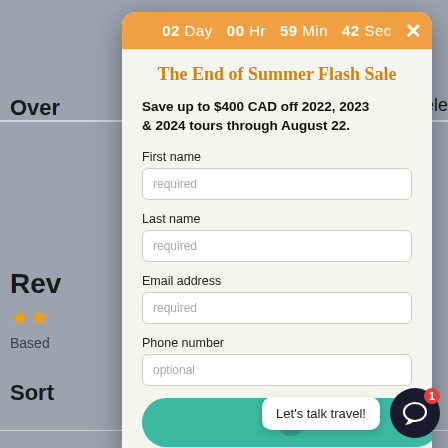[Figure (screenshot): Background webpage showing travel review site with 'Over', 'Traveler', 'Rev', star ratings, 'Based', and 'Sort' text sections visible behind the modal]
02 Day  00 Hr  59 Min  42 Sec
The End of Summer Flash Sale
Save up to $400 CAD off 2022, 2023 & 2024 tours through August 22.
First name
required
Last name
required
Email address
required
Phone number
optional
Submit
Let's talk travel!